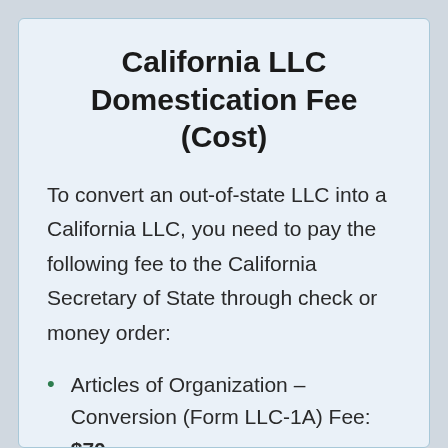California LLC Domestication Fee (Cost)
To convert an out-of-state LLC into a California LLC, you need to pay the following fee to the California Secretary of State through check or money order:
Articles of Organization – Conversion (Form LLC-1A) Fee: $70
Additional fee for submitting in